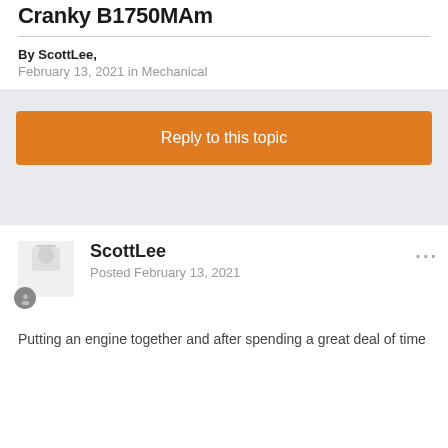Cranky B1750MAm
By ScottLee,
February 13, 2021 in Mechanical
Reply to this topic
ScottLee
Posted February 13, 2021
Putting an engine together and after spending a great deal of time